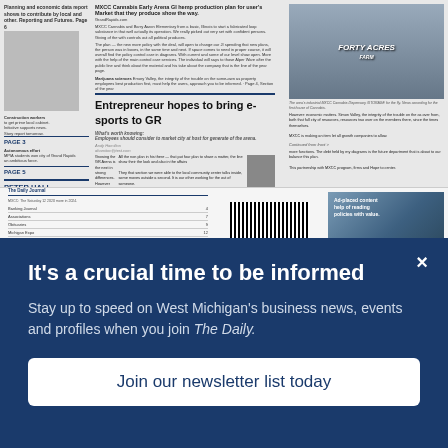[Figure (screenshot): Newspaper front page screenshot showing multiple news stories including 'Entrepreneur hopes to bring e-sports to GR' as main headline, along with a photo of a woman, a building photo, and various smaller articles]
It's a crucial time to be informed
Stay up to speed on West Michigan's business news, events and profiles when you join The Daily.
Join our newsletter list today